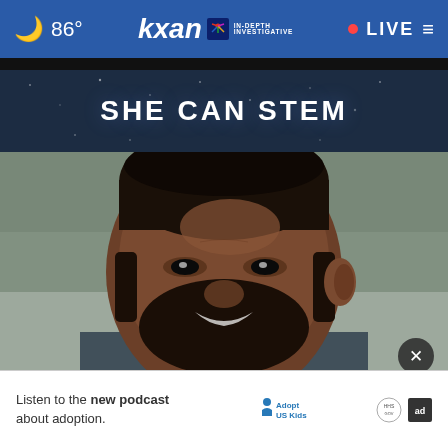86° KXAN IN-DEPTH INVESTIGATIVE • LIVE
SHE CAN STEM
[Figure (photo): Close-up photo of a Black man with a beard and short hair, smiling slightly, wearing a jacket, blurred background]
Listen to the new podcast about adoption.
[Figure (logo): Adopt US Kids logo and ad council badge]